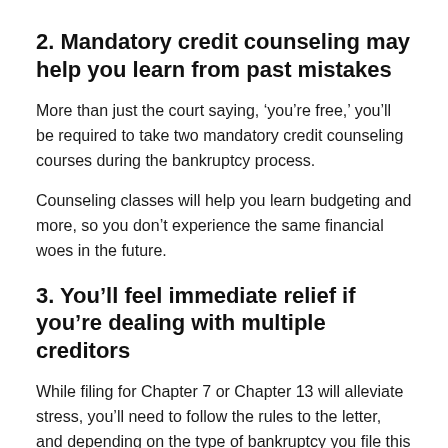2. Mandatory credit counseling may help you learn from past mistakes
More than just the court saying, ‘you’re free,’ you’ll be required to take two mandatory credit counseling courses during the bankruptcy process.
Counseling classes will help you learn budgeting and more, so you don’t experience the same financial woes in the future.
3. You’ll feel immediate relief if you’re dealing with multiple creditors
While filing for Chapter 7 or Chapter 13 will alleviate stress, you’ll need to follow the rules to the letter, and depending on the type of bankruptcy you file this will